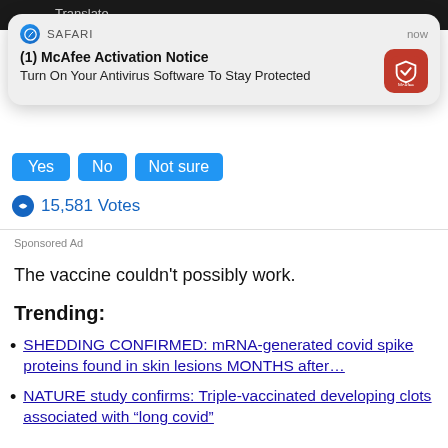[Figure (screenshot): Top portion of a mobile web page showing a dark image strip with 'Translate...' text, and a notification popup from Safari for McAfee Activation Notice]
(1) McAfee Activation Notice
Turn On Your Antivirus Software To Stay Protected
[Figure (screenshot): Blue buttons: Yes, No, Not sure]
15,581 Votes
Sponsored Ad
The vaccine couldn't possibly work.
Trending:
SHEDDING CONFIRMED: mRNA-generated covid spike proteins found in skin lesions MONTHS after…
NATURE study confirms: Triple-vaccinated developing clots associated with “long covid”